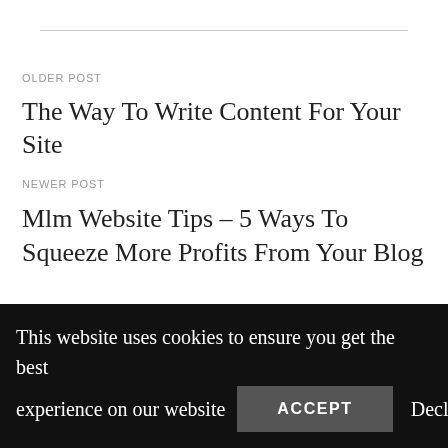OLDER POST
The Way To Write Content For Your Site
NEWER POST
Mlm Website Tips – 5 Ways To Squeeze More Profits From Your Blog
This website uses cookies to ensure you get the best experience on our website  ACCEPT  Decline